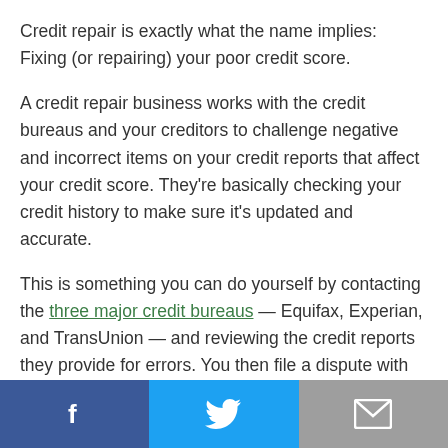Credit repair is exactly what the name implies: Fixing (or repairing) your poor credit score.
A credit repair business works with the credit bureaus and your creditors to challenge negative and incorrect items on your credit reports that affect your credit score. They're basically checking your credit history to make sure it's updated and accurate.
This is something you can do yourself by contacting the three major credit bureaus — Equifax, Experian, and TransUnion — and reviewing the credit reports they provide for errors. You then file a dispute with each of the credit bureaus to fix any errors.
[Figure (infographic): Social sharing bar with Facebook (blue), Twitter (light blue), and email (gray) buttons with white icons]